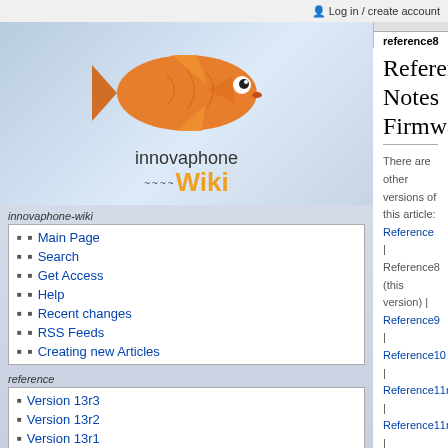Log in / create account
reference8 | discussion | view source
[Figure (logo): Innovaphone Wiki logo with goldfish image above text 'innovaphone Wiki']
innovaphone-wiki
Main Page
Search
Get Access
Help
Recent changes
RSS Feeds
Creating new Articles
reference
Version 13r3
Version 13r2
Version 13r1
Version 12r2
Version 12r1
Version 11r2
Version 11r1
Reference8:Release Notes Firmware
There are other versions of this article: Reference | Reference8 (this version) | Reference9 | Reference10 | Reference11r1 | Reference11r2 | Reference12r1 | Reference12r2 | Reference13r1 | Reference13r2 | Reference13r3
This is the Firmware V8 Release Notes Document.
The release date of the next Hotfix is planed for the second monday of a month. Please note that this a scheduled and no fix date.
Please see the disclaimer before using the information presented here!
| Contents [hide] |
| --- |
| 1 Firmware V8 |